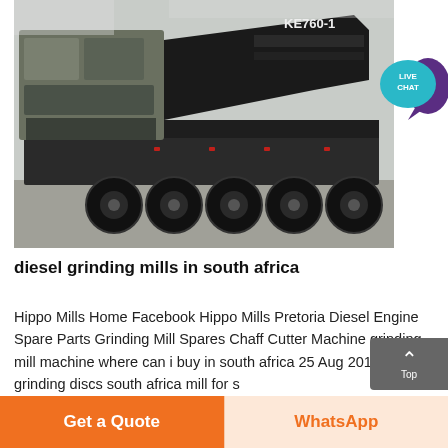[Figure (photo): A large mobile crushing/mining machine labeled KE760-1 mounted on a heavy-duty multi-axle lowboy trailer, photographed outdoors.]
diesel grinding mills in south africa
Hippo Mills Home Facebook Hippo Mills Pretoria Diesel Engine Spare Parts Grinding Mill Spares Chaff Cutter Machine grinding mill machine where can i buy in south africa 25 Aug 2016 grinding discs south africa mill for s